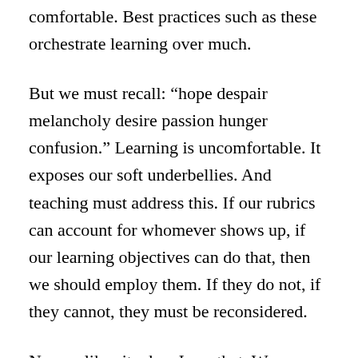comfortable. Best practices such as these orchestrate learning over much.
But we must recall: “hope despair melancholy desire passion hunger confusion.” Learning is uncomfortable. It exposes our soft underbellies. And teaching must address this. If our rubrics can account for whomever shows up, if our learning objectives can do that, then we should employ them. If they do not, if they cannot, they must be reconsidered.
No one likes it when I say that. We are tied to our way of doing things, our way of seeing education. We condemn those who would dare to ask about...